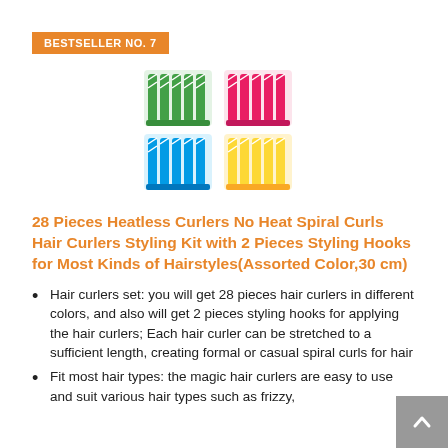BESTSELLER NO. 7
[Figure (photo): Product image of 28 Pieces Heatless Curlers in assorted colors (green, pink, blue, yellow) arranged in a 2x2 grid]
28 Pieces Heatless Curlers No Heat Spiral Curls Hair Curlers Styling Kit with 2 Pieces Styling Hooks for Most Kinds of Hairstyles(Assorted Color,30 cm)
Hair curlers set: you will get 28 pieces hair curlers in different colors, and also will get 2 pieces styling hooks for applying the hair curlers; Each hair curler can be stretched to a sufficient length, creating formal or casual spiral curls for hair
Fit most hair types: the magic hair curlers are easy to use and suit various hair types such as frizzy,